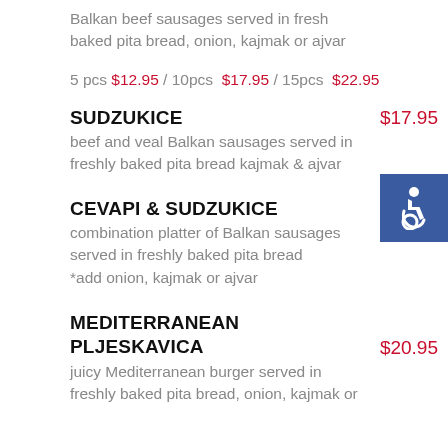Balkan beef sausages served in fresh baked pita bread, onion, kajmak or ajvar
5 pcs $12.95 / 10pcs $17.95 / 15pcs $22.95
SUDZUKICE $17.95
beef and veal Balkan sausages served in freshly baked pita bread kajmak & ajvar
[Figure (other): Accessibility wheelchair icon on blue background]
CEVAPI & SUDZUKICE $19.95
combination platter of Balkan sausages served in freshly baked pita bread *add onion, kajmak or ajvar
MEDITERRANEAN PLJESKAVICA $20.95
juicy Mediterranean burger served in freshly baked pita bread, onion, kajmak or